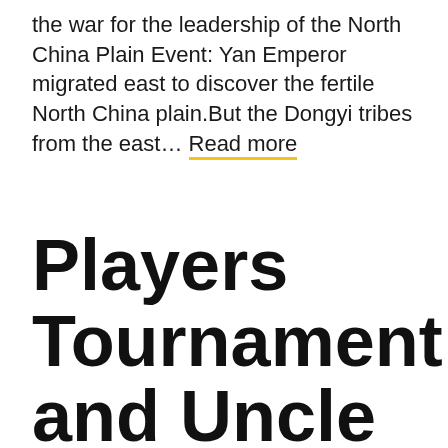the war for the leadership of the North China Plain Event: Yan Emperor migrated east to discover the fertile North China plain.But the Dongyi tribes from the east… Read more
Players Tournament!Robertson and Uncle Ma advanced to the second